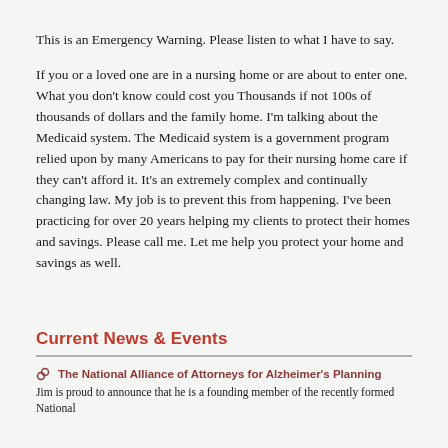This is an Emergency Warning. Please listen to what I have to say.
If you or a loved one are in a nursing home or are about to enter one. What you don't know could cost you Thousands if not 100s of thousands of dollars and the family home. I'm talking about the Medicaid system. The Medicaid system is a government program relied upon by many Americans to pay for their nursing home care if they can't afford it. It's an extremely complex and continually changing law. My job is to prevent this from happening. I've been practicing for over 20 years helping my clients to protect their homes and savings. Please call me. Let me help you protect your home and savings as well.
Current News & Events
The National Alliance of Attorneys for Alzheimer's Planning
Jim is proud to announce that he is a founding member of the recently formed National